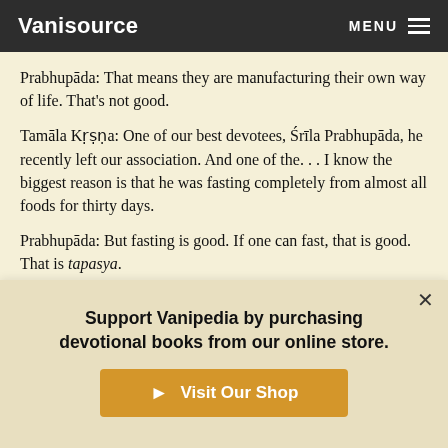Vanisource | MENU
Prabhupāda: That means they are manufacturing their own way of life. That's not good.
Tamāla Kṛṣṇa: One of our best devotees, Śrīla Prabhupāda, he recently left our association. And one of the. . . I know the biggest reason is that he was fasting completely from almost all foods for thirty days.
Prabhupāda: But fasting is good. If one can fast, that is good. That is tapasya.
Tamāla Kṛṣṇa: Yes. But see, they read these books in addition.
Prabhupāda: Fasting is not bad. If one can fast, that is very good.
Support Vanipedia by purchasing devotional books from our online store.
Visit Our Shop